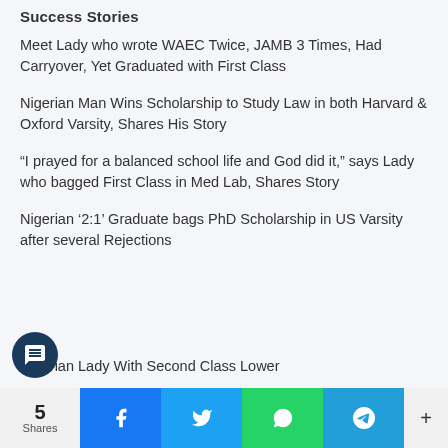Success Stories
Meet Lady who wrote WAEC Twice, JAMB 3 Times, Had Carryover, Yet Graduated with First Class
Nigerian Man Wins Scholarship to Study Law in both Harvard & Oxford Varsity, Shares His Story
“I prayed for a balanced school life and God did it,” says Lady who bagged First Class in Med Lab, Shares Story
Nigerian ‘2:1’ Graduate bags PhD Scholarship in US Varsity after several Rejections
Nigerian Lady With Second Class Lower
5 Shares  Facebook  Twitter  WhatsApp  Telegram  +